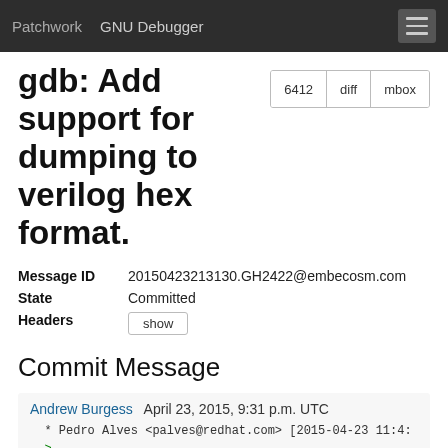Patchwork   GNU Debugger
gdb: Add support for dumping to verilog hex format.
| Field | Value |
| --- | --- |
| Message ID | 20150423213130.GH2422@embecosm.com |
| State | Committed |
| Headers | show |
Commit Message
Andrew Burgess   April 23, 2015, 9:31 p.m. UTC
* Pedro Alves <palves@redhat.com> [2015-04-23 11:4:
>
> Thanks, this looks good to me with the missing _()